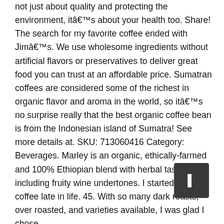not just about quality and protecting the environment, itâs about your health too. Share! The search for my favorite coffee ended with Jimâs. We use wholesome ingredients without artificial flavors or preservatives to deliver great food you can trust at an affordable price. Sumatran coffees are considered some of the richest in organic flavor and aroma in the world, so itâs no surprise really that the best organic coffee bean is from the Indonesian island of Sumatra! See more details at. SKU: 713060416 Category: Beverages. Marley is an organic, ethically-farmed and 100% Ethiopian blend with herbal tastes including fruity wine undertones. I started drinking coffee late in life. 45. With so many dark roasts, over roasted, and varieties available, I was glad I chose